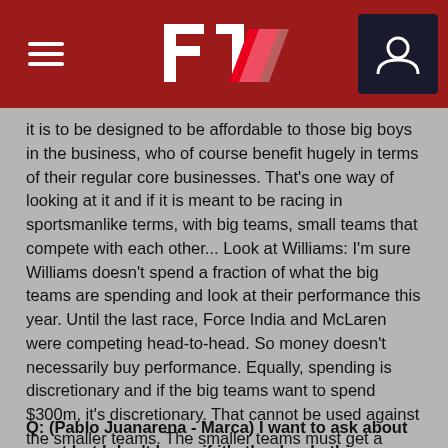F1 Header Navigation
it is to be designed to be affordable to those big boys in the business, who of course benefit hugely in terms of their regular core businesses. That's one way of looking at it and if it is meant to be racing in sportsmanlike terms, with big teams, small teams that compete with each other... Look at Williams: I'm sure Williams doesn't spend a fraction of what the big teams are spending and look at their performance this year. Until the last race, Force India and McLaren were competing head-to-head. So money doesn't necessarily buy performance. Equally, spending is discretionary and if the big teams want to spend $300m, it's discretionary. That cannot be used against the smaller teams. The smaller teams must get a revenue share that makes it financially viable or sustainable. That's the point.
Q: (Pablo Juanarena - Marca) I want to ask about sport but I don't know if it's the day. In this building we are talking about money and Eric, Toto, don't you think it's a mistake for all the sport to talk about money for one hour in this